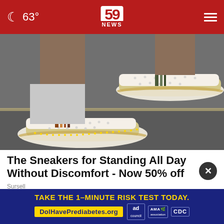63° | 59 NEWS
[Figure (photo): Close-up photo of a person wearing white slip-on sneakers with perforated upper, decorative striped elastic bands, and tan/brown cork-style soles. The person is wearing white jeans and standing on a paved surface.]
The Sneakers for Standing All Day Without Discomfort - Now 50% off
Sursell
TAKE THE 1-MINUTE RISK TEST TODAY. DolHavePrediabetes.org